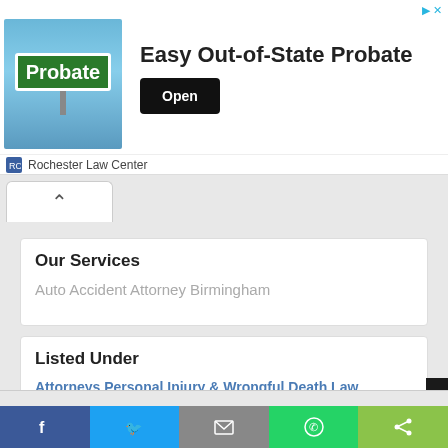[Figure (infographic): Advertisement banner: Green Probate street sign image on left, 'Easy Out-of-State Probate' heading in center, 'Open' button on right, Rochester Law Center branding below]
Auto Accident Attorney Birmingham
Our Services
Listed Under
Attorneys Personal Injury & Wrongful Death Law
Personal Injury Lawyers